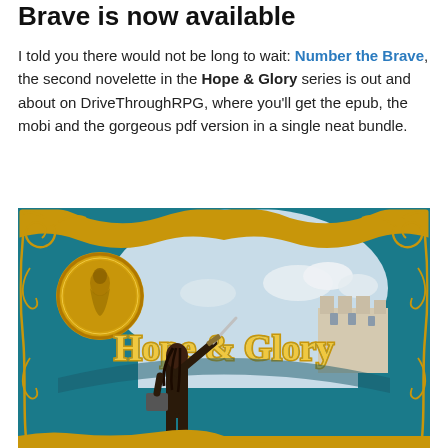Brave is now available
I told you there would not be long to wait: Number the Brave, the second novelette in the Hope & Glory series is out and about on DriveThroughRPG, where you'll get the epub, the mobi and the gorgeous pdf version in a single neat bundle.
[Figure (illustration): Book cover for 'Hope & Glory' series — teal/blue ornate frame with gold decorative scrollwork, a gold medallion with a figure on the left, the text 'Hope & Glory' in large gold letters, and a warrior figure raising a sword in the foreground with a castle in the background.]